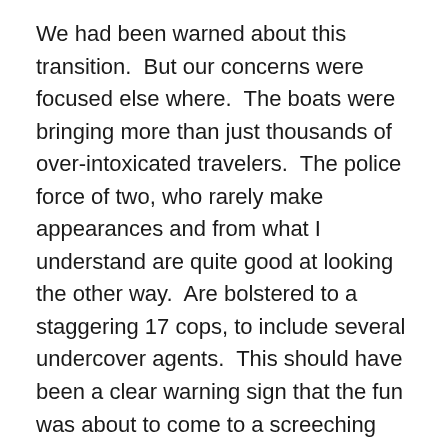We had been warned about this transition.  But our concerns were focused else where.  The boats were bringing more than just thousands of over-intoxicated travelers.  The police force of two, who rarely make appearances and from what I understand are quite good at looking the other way.  Are bolstered to a staggering 17 cops, to include several undercover agents.  This should have been a clear warning sign that the fun was about to come to a screeching halt.
The day of the full moon party had the island pumping with excitement (literally).  The beach was filling up with firework platforms, black light paint artists, fire jugglers, and of course the endless rows of booze buckets sprawled across folding tables and bar stands. Five dollars provided you with a bottle of your choice and a mixer, dumped into a child's sand bucket.  "Meant for a group", but often